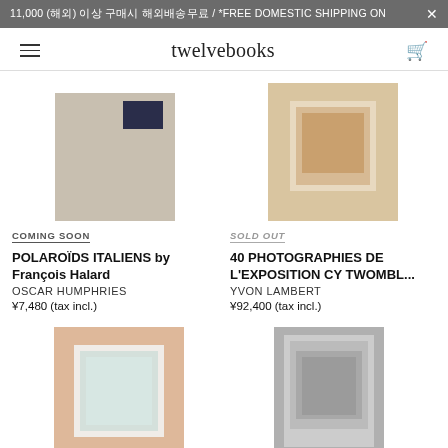11,000 (해외) 이상 구매시 해외배송무료 / *FREE DOMESTIC SHIPPING ON
twelvebooks
COMING SOON
POLAROÏDS ITALIENS by François Halard
OSCAR HUMPHRIES
¥7,480 (tax incl.)
SOLD OUT
40 PHOTOGRAPHIES DE L'EXPOSITION CY TWOMBL...
YVON LAMBERT
¥92,400 (tax incl.)